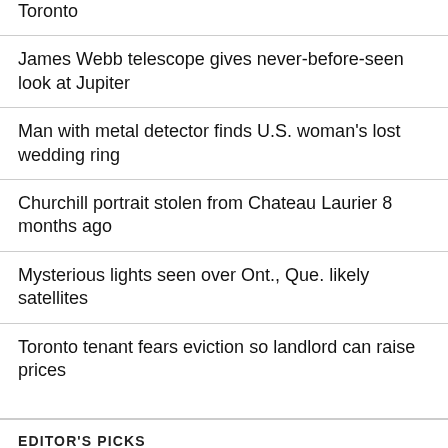Toronto
James Webb telescope gives never-before-seen look at Jupiter
Man with metal detector finds U.S. woman's lost wedding ring
Churchill portrait stolen from Chateau Laurier 8 months ago
Mysterious lights seen over Ont., Que. likely satellites
Toronto tenant fears eviction so landlord can raise prices
EDITOR'S PICKS